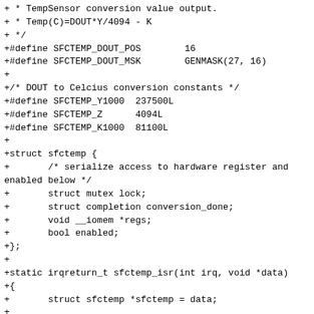+ * TempSensor conversion value output.
+ * Temp(C)=DOUT*Y/4094 - K
+ */
+#define SFCTEMP_DOUT_POS        16
+#define SFCTEMP_DOUT_MSK        GENMASK(27, 16)
+
+/* DOUT to Celcius conversion constants */
+#define SFCTEMP_Y1000  237500L
+#define SFCTEMP_Z      4094L
+#define SFCTEMP_K1000  81100L
+
+struct sfctemp {
+       /* serialize access to hardware register and enabled below */
+       struct mutex lock;
+       struct completion conversion_done;
+       void __iomem *regs;
+       bool enabled;
+};
+
+static irqreturn_t sfctemp_isr(int irq, void *data)
+{
+       struct sfctemp *sfctemp = data;
+
+       complete(&sfctemp->conversion_done);
+       return IRQ_HANDLED;
+}
+
+static void sfctemp_power_up(struct sfctemp *sfctemp)
+{